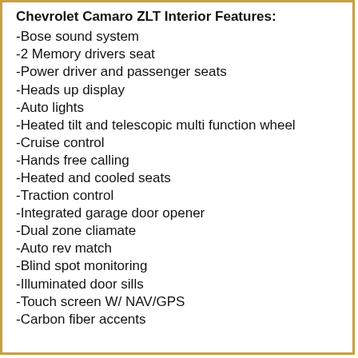Chevrolet Camaro ZLT Interior Features:
-Bose sound system
-2 Memory drivers seat
-Power driver and passenger seats
-Heads up display
-Auto lights
-Heated tilt and telescopic multi function wheel
-Cruise control
-Hands free calling
-Heated and cooled seats
-Traction control
-Integrated garage door opener
-Dual zone cliamate
-Auto rev match
-Blind spot monitoring
-Illuminated door sills
-Touch screen W/ NAV/GPS
-Carbon fiber accents